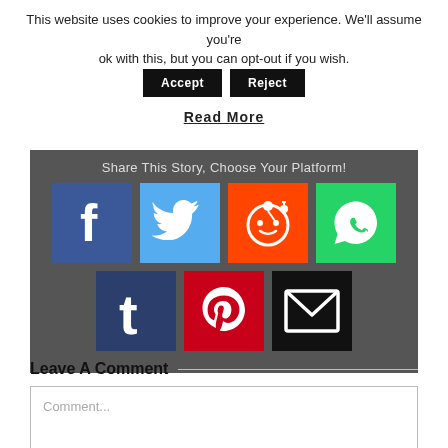This website uses cookies to improve your experience. We'll assume you're ok with this, but you can opt-out if you wish.
Accept | Reject
Read More
[Figure (infographic): Share This Story, Choose Your Platform! Social sharing buttons for Facebook, Twitter, Reddit, WhatsApp, Tumblr, Pinterest, and Email]
Leave A Comment
Comment...